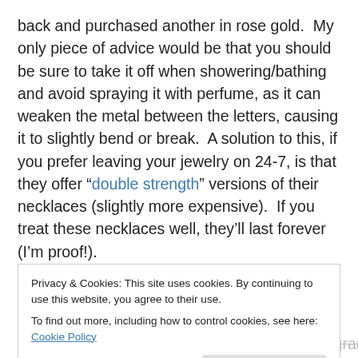back and purchased another in rose gold.  My only piece of advice would be that you should be sure to take it off when showering/bathing and avoid spraying it with perfume, as it can weaken the metal between the letters, causing it to slightly bend or break.  A solution to this, if you prefer leaving your jewelry on 24-7, is that they offer “double strength” versions of their necklaces (slightly more expensive).  If you treat these necklaces well, they’ll last forever (I’m proof!).
I’ve also purchased the “Sterling Silver Monogramed
Privacy & Cookies: This site uses cookies. By continuing to use this website, you agree to their use.
To find out more, including how to control cookies, see here: Cookie Policy
name was Dinah Margaret Jones), your monogram